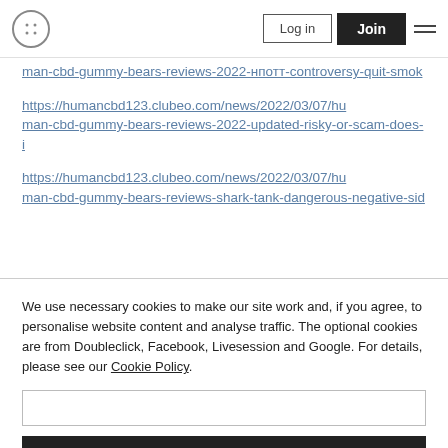Log in | Join
https://humancbd123.clubeo.com/news/2022/03/07/human-cbd-gummy-bears-reviews-2022-нпотт-controversy-quit-smok
https://humancbd123.clubeo.com/news/2022/03/07/human-cbd-gummy-bears-reviews-2022-updated-risky-or-scam-does-i
https://humancbd123.clubeo.com/news/2022/03/07/human-cbd-gummy-bears-reviews-shark-tank-dangerous-negative-sid
We use necessary cookies to make our site work and, if you agree, to personalise website content and analyse traffic. The optional cookies are from Doubleclick, Facebook, Livesession and Google. For details, please see our Cookie Policy.
Accept